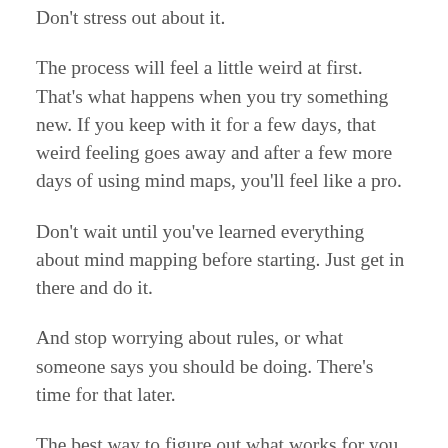Don't stress out about it.
The process will feel a little weird at first. That's what happens when you try something new. If you keep with it for a few days, that weird feeling goes away and after a few more days of using mind maps, you'll feel like a pro.
Don't wait until you've learned everything about mind mapping before starting. Just get in there and do it.
And stop worrying about rules, or what someone says you should be doing. There's time for that later.
The best way to figure out what works for you is to try it first, without judging yourself. Then go looking for some info and compare it to what you've figured